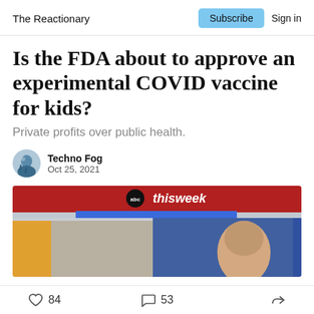The Reactionary | Subscribe | Sign in
Is the FDA about to approve an experimental COVID vaccine for kids?
Private profits over public health.
Techno Fog
Oct 25, 2021
[Figure (screenshot): ABC This Week TV screenshot showing a news broadcast with red banner and abc thisweek logo, with a person visible on screen]
84 likes  53 comments  share